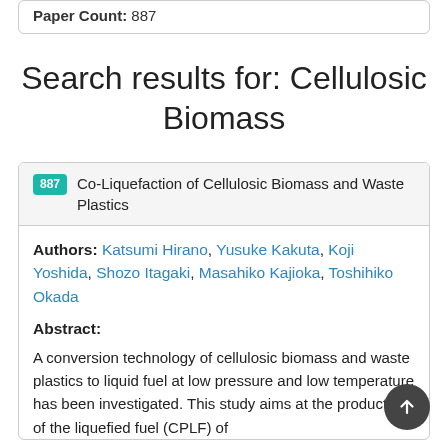Paper Count: 887
Search results for: Cellulosic Biomass
887 Co-Liquefaction of Cellulosic Biomass and Waste Plastics
Authors: Katsumi Hirano, Yusuke Kakuta, Koji Yoshida, Shozo Itagaki, Masahiko Kajioka, Toshihiko Okada
Abstract:
A conversion technology of cellulosic biomass and waste plastics to liquid fuel at low pressure and low temperature has been investigated. This study aims at the production of the liquefied fuel (CPLF) of